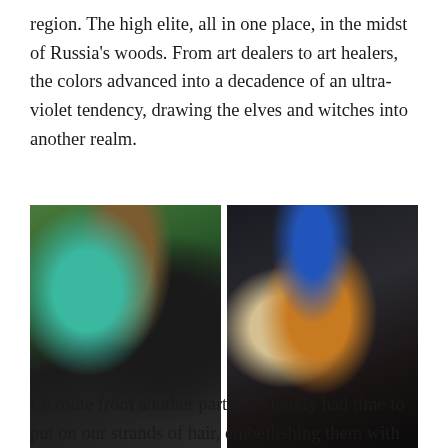region. The high elite, all in one place, in the midst of Russia's woods. From art dealers to art healers, the colors advanced into a decadence of an ultra-violet tendency, drawing the elves and witches into another realm.
[Figure (photo): Two photos side by side. Left: a woman with teal/turquoise hair, leopard-print headwear, sunglasses, black outfit, holding chains, with a dark-robed figure behind her. Right: a woman with long red/auburn hair and blue accessories and hat at a nighttime event.]
En route from another party, we barely had time to put on our strands of hair, embellishing them with fake flowers and grapes on the way out. My date is a redhead ex-